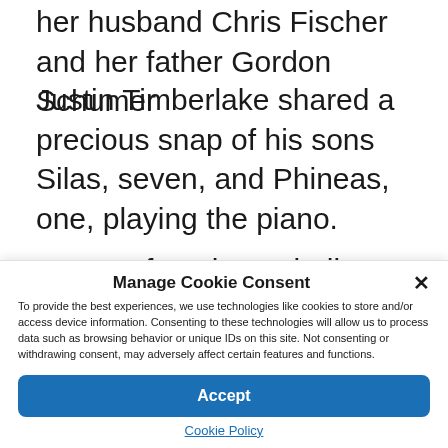her husband Chris Fischer and her father Gordon Schumer
Justin Timberlake shared a precious snap of his sons Silas, seven, and Phineas, one, playing the piano.
'My two favorite melodies,' he captioned the
Manage Cookie Consent
To provide the best experiences, we use technologies like cookies to store and/or access device information. Consenting to these technologies will allow us to process data such as browsing behavior or unique IDs on this site. Not consenting or withdrawing consent, may adversely affect certain features and functions.
Accept
Cookie Policy